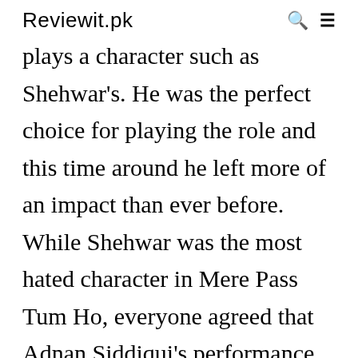Reviewit.pk
plays a character such as Shehwar's. He was the perfect choice for playing the role and this time around he left more of an impact than ever before. While Shehwar was the most hated character in Mere Pass Tum Ho, everyone agreed that Adnan Siddiqui's performance was the best thing about the drama. He made sure that he looked the role as well which made it easier to understand why someone like Shehwar was so capable of having things his way. This was one of the...